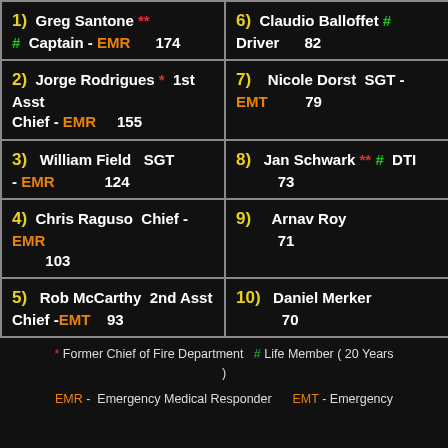| 1) Greg Santone ** | # Captain - EMR 174 | 6) Claudio Balloffet # | Driver 82 |
| 2) Jorge Rodrigues * 1st Asst Chief - EMR 155 | 7) Nicole Dorst SGT - EMT 79 |
| 3) William Field SGT - EMR 124 | 8) Jan Schwark ** # DTI 73 |
| 4) Chris Raguso Chief - EMR 103 | 9) Arnav Roy 71 |
| 5) Rob McCarthy 2nd Asst Chief - EMT 93 | 10) Daniel Merker 70 |
* Former Chief of Fire Department  # Life Member ( 20 Years )
EMR - Emergency Medical Responder    EMT - Emergency